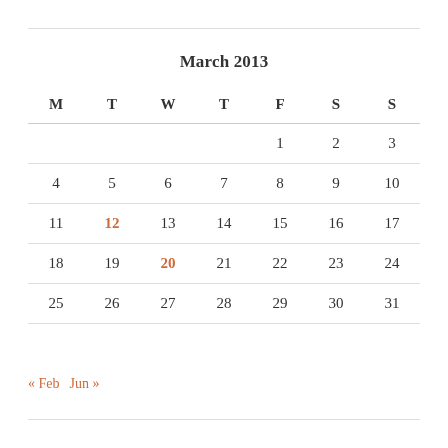March 2013
| M | T | W | T | F | S | S |
| --- | --- | --- | --- | --- | --- | --- |
|  |  |  |  | 1 | 2 | 3 |
| 4 | 5 | 6 | 7 | 8 | 9 | 10 |
| 11 | 12 | 13 | 14 | 15 | 16 | 17 |
| 18 | 19 | 20 | 21 | 22 | 23 | 24 |
| 25 | 26 | 27 | 28 | 29 | 30 | 31 |
« Feb   Jun »